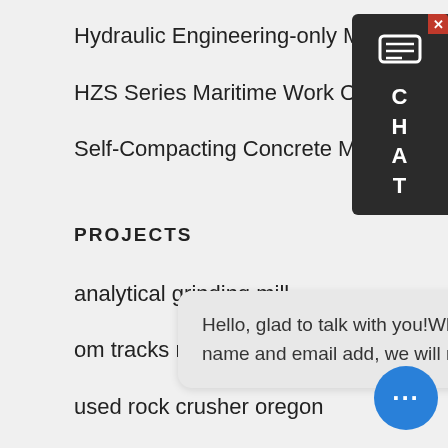Hydraulic Engineering-only Mixing Station (Plant)
HZS Series Maritime Work Concrete Mixing Station
Self-Compacting Concrete Mobile Mixing Station
PROJECTS
analytical grinding mill
om tracks mobile crusher
used rock crusher oregon
CONTACT DETAILS
saleinfo@mixingchina.com
+86-2
+86-2
Hello, glad to talk with you!Which equipment you are looking for?Kindly leave your name and email add, we will reply you with detail.